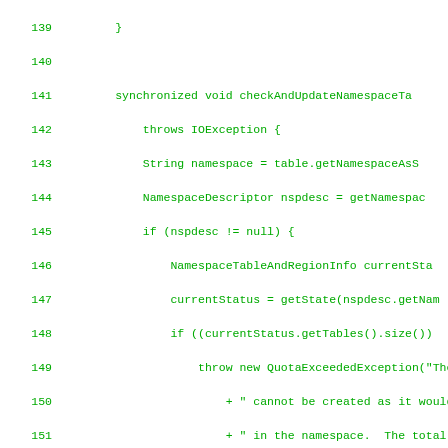[Figure (screenshot): Source code listing in monospace green font on white background, showing Java method checkAndUpdateNamespace, lines 139-167, with line numbers on the left.]